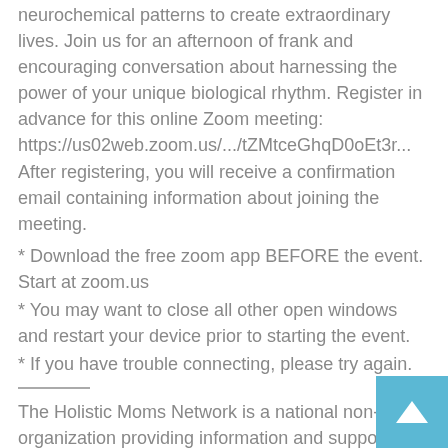neurochemical patterns to create extraordinary lives. Join us for an afternoon of frank and encouraging conversation about harnessing the power of your unique biological rhythm. Register in advance for this online Zoom meeting: https://us02web.zoom.us/.../tZMtceGhqD0oEt3r... After registering, you will receive a confirmation email containing information about joining the meeting.
* Download the free zoom app BEFORE the event. Start at zoom.us
* You may want to close all other open windows and restart your device prior to starting the event.
* If you have trouble connecting, please try again.
The Holistic Moms Network is a national non-profit organization providing information and support for people interested in natural living, holistic health, and gentle parenting. Everyone is welcome to attend our monthly gatherings to try out one or two events before becoming a